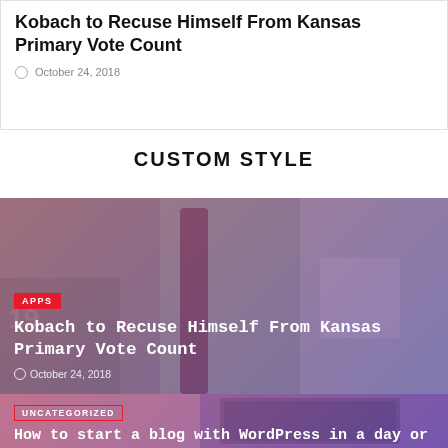Kobach to Recuse Himself From Kansas Primary Vote Count
October 24, 2018
CUSTOM STYLE
[Figure (photo): Featured article card with purple/pink gradient overlay over a plant nursery/greenhouse photo. Shows 'APPS' category badge, title 'Kobach to Recuse Himself From Kansas Primary Vote Count', and date 'October 24, 2018']
[Figure (photo): Second featured article card with purple/pink gradient overlay over a tech/tablet photo. Shows 'UNCATEGORIZED' category badge with outline style, title 'How to start a blog with WordPress in a day or less', and date 'October 24, 2018']